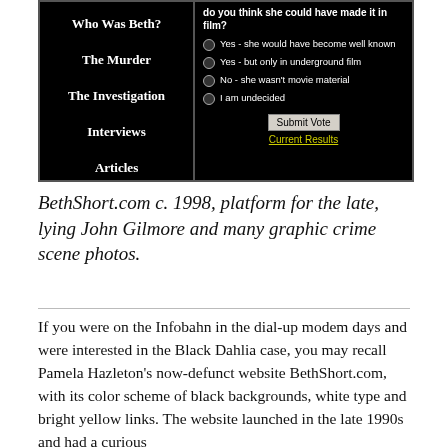[Figure (screenshot): Screenshot of BethShort.com website c. 1998, showing black background with white nav links (Who Was Beth?, The Murder, The Investigation, Interviews, Articles) on the left, and a poll on the right asking if Beth Short could have made it in film, with radio button options and Submit Vote button plus yellow Current Results link.]
BethShort.com c. 1998, platform for the late, lying John Gilmore and many graphic crime scene photos.
If you were on the Infobahn in the dial-up modem days and were interested in the Black Dahlia case, you may recall Pamela Hazleton's now-defunct website BethShort.com, with its color scheme of black backgrounds, white type and bright yellow links. The website launched in the late 1990s and had a curious affiliation with...